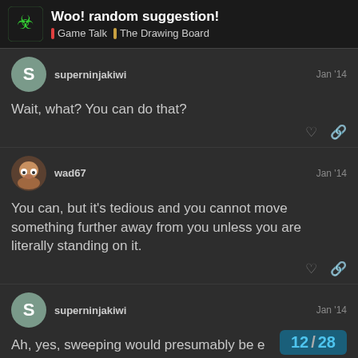Woo! random suggestion! | Game Talk | The Drawing Board
superninjakiwi — Jan '14
Wait, what? You can do that?
wad67 — Jan '14
You can, but it's tedious and you cannot move something further away from you unless you are literally standing on it.
superninjakiwi — Jan '14
Ah, yes, sweeping would presumably be e…
12 / 28